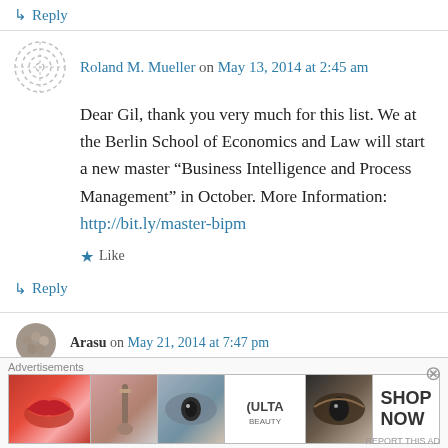↳ Reply
Roland M. Mueller on May 13, 2014 at 2:45 am
Dear Gil, thank you very much for this list. We at the Berlin School of Economics and Law will start a new master “Business Intelligence and Process Management” in October. More Information: http://bit.ly/master-bipm
★ Like
↳ Reply
Arasu on May 21, 2014 at 7:47 pm
[Figure (infographic): Ulta beauty advertisement banner with cosmetics imagery and SHOP NOW call to action]